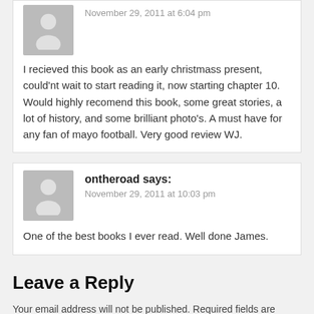November 29, 2011 at 6:04 pm
I recieved this book as an early christmass present, could'nt wait to start reading it, now starting chapter 10. Would highly recomend this book, some great stories, a lot of history, and some brilliant photo's. A must have for any fan of mayo football. Very good review WJ.
ontheroad says:
November 29, 2011 at 10:03 pm
One of the best books I ever read. Well done James.
Leave a Reply
Your email address will not be published. Required fields are marked *